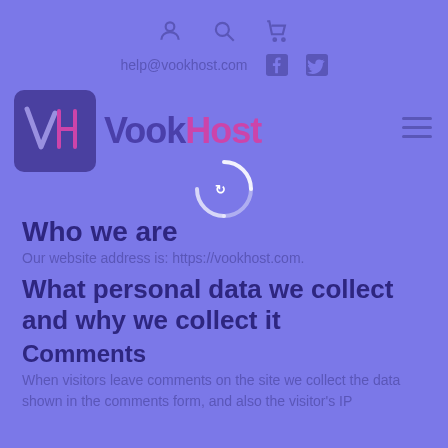Icons: account, search, cart
help@vookhost.com
[Figure (logo): VookHost logo with VH icon in dark purple box, text 'VookHost' with Vook in dark purple and Host in pink/magenta]
[Figure (other): Circular loading/sync spinner icon in white]
Who we are
Our website address is: https://vookhost.com.
What personal data we collect and why we collect it
Comments
When visitors leave comments on the site we collect the data shown in the comments form, and also the visitor's IP